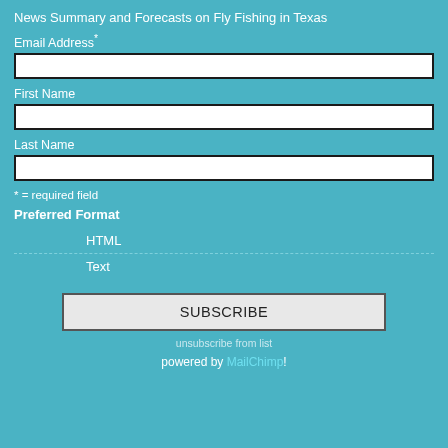News Summary and Forecasts on Fly Fishing in Texas
Email Address*
First Name
Last Name
* = required field
Preferred Format
HTML
Text
SUBSCRIBE
unsubscribe from list
powered by MailChimp!